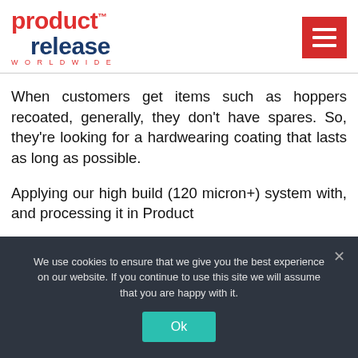[Figure (logo): Product Release Worldwide logo with red 'product' text and dark blue 'release' text, and a red hamburger menu button on the right]
When customers get items such as hoppers recoated, generally, they don't have spares. So, they're looking for a hardwearing coating that lasts as long as possible.
Applying our high build (120 micron+) system with, and processing it in Product
We use cookies to ensure that we give you the best experience on our website. If you continue to use this site we will assume that you are happy with it.